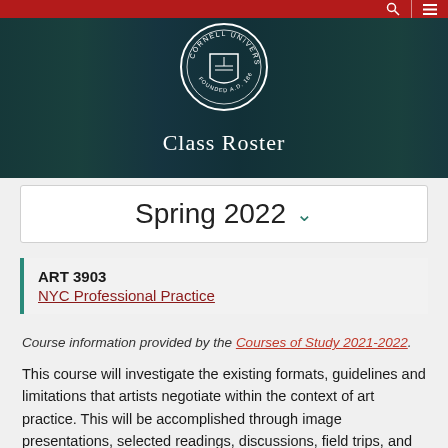[Figure (screenshot): Cornell University website header banner with campus photo background, Cornell seal, and 'Class Roster' text]
Class Roster
Spring 2022
ART 3903
NYC Professional Practice
Course information provided by the Courses of Study 2021-2022.
This course will investigate the existing formats, guidelines and limitations that artists negotiate within the context of art practice. This will be accomplished through image presentations, selected readings, discussions, field trips, and visiting lecturers. The guest visitors may include a selection of: artist(s), gallery director, non-profit director or curator, museum curator, art critic, art lawyer, art